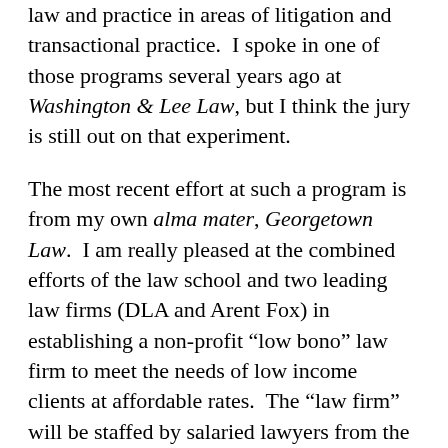law and practice in areas of litigation and transactional practice.  I spoke in one of those programs several years ago at Washington & Lee Law, but I think the jury is still out on that experiment.
The most recent effort at such a program is from my own alma mater, Georgetown Law.  I am really pleased at the combined efforts of the law school and two leading law firms (DLA and Arent Fox) in establishing a non-profit “low bono” law firm to meet the needs of low income clients at affordable rates.  The “law firm” will be staffed by salaried lawyers from the recent Georgetown Law class, and DLA and Arent Fox lawyers will provide a range of services and support, including training and